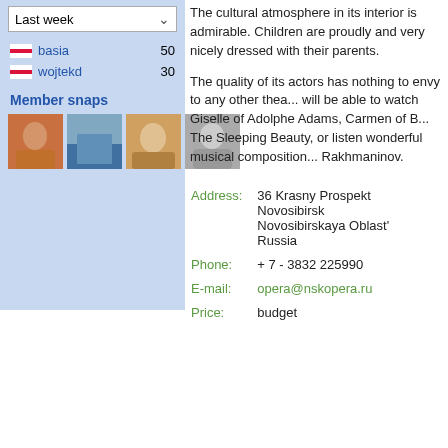Last week
basia 50
wojtekd 30
Member snaps
[Figure (photo): Four small thumbnail photos of members]
The cultural atmosphere in its interior is admirable. Children are proudly and very nicely dressed with their parents.
The quality of its actors has nothing to envy to any other thea... will be able to watch Giselle of Adolphe Adams, Carmen of B... The Sleeping Beauty, or listen wonderful musical composition... Rakhmaninov.
| Address: | 36 Krasny Prospekt
Novosibirsk
Novosibirskaya Oblast'
Russia |
| Phone: | + 7 - 3832 225990 |
| E-mail: | opera@nskopera.ru |
| Price: | budget |